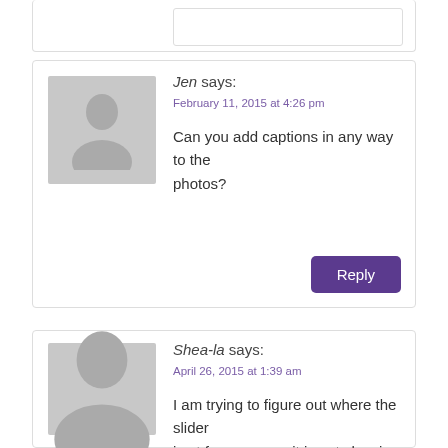[Figure (illustration): Top portion of a comment reply box, partially visible at the top of the page]
Jen says:
February 11, 2015 at 4:26 pm
Can you add captions in any way to the photos?
Reply
Shea-la says:
April 26, 2015 at 1:39 am
I am trying to figure out where the slider is at for my page, it is not showing up on my home page.